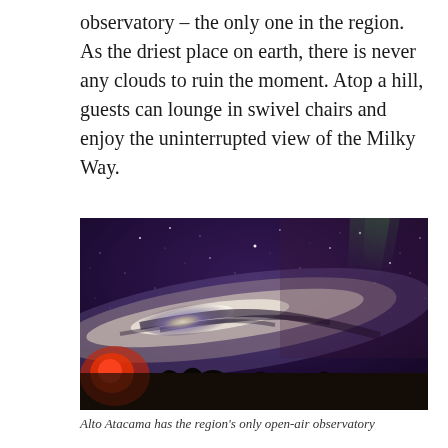observatory – the only one in the region. As the driest place on earth, there is never any clouds to ruin the moment. Atop a hill, guests can lounge in swivel chairs and enjoy the uninterrupted view of the Milky Way.
[Figure (photo): Night sky photograph showing the Milky Way galaxy arc across a dark purple and blue sky filled with stars. A red glow is visible on the lower left, and tree silhouettes line the bottom of the image.]
Alto Atacama has the region's only open-air observatory